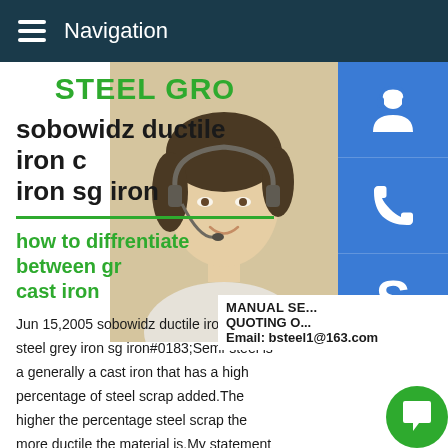Navigation
STEEL GR...
sobowidz ductile iron c... iron sg iron
how to diffrentiate between gr... cast iron
Jun 15,2005 sobowidz ductile iron cast steel grey iron sg iron#0183;Semi-steel is a generally a cast iron that has a high percentage of steel scrap added.The higher the percentage steel scrap the more ductile the material is.My statement on semi-st... probably isn't true for all cases as the material we bought was
[Figure (photo): Woman with headset, customer service representative photo]
[Figure (infographic): Three blue icon buttons: headset/person icon, phone icon, Skype icon. Manual service and quoting information panel with email bsteel1@163.com]
[Figure (other): Green chat bubble icon at bottom right]